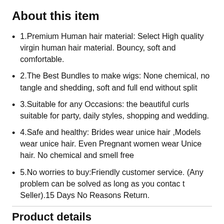About this item
1.Premium Human hair material: Select High quality virgin human hair material. Bouncy, soft and comfortable.
2.The Best Bundles to make wigs: None chemical, no tangle and shedding, soft and full end without split
3.Suitable for any Occasions: the beautiful curls suitable for party, daily styles, shopping and wedding.
4.Safe and healthy: Brides wear unice hair ,Models wear unice hair. Even Pregnant women wear Unice hair. No chemical and smell free
5.No worries to buy:Friendly customer service. (Any problem can be solved as long as you contac t Seller).15 Days No Reasons Return.
Product details